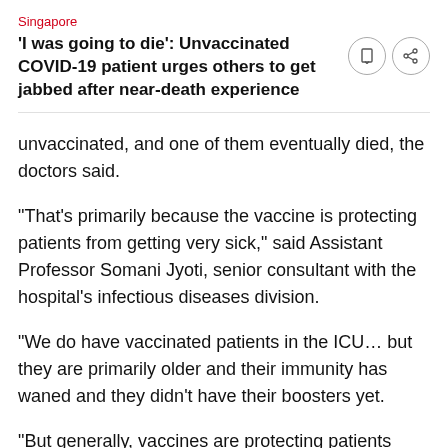Singapore
'I was going to die': Unvaccinated COVID-19 patient urges others to get jabbed after near-death experience
unvaccinated, and one of them eventually died, the doctors said.
"That's primarily because the vaccine is protecting patients from getting very sick," said Assistant Professor Somani Jyoti, senior consultant with the hospital's infectious diseases division.
"We do have vaccinated patients in the ICU… but they are primarily older and their immunity has waned and they didn't have their boosters yet.
"But generally, vaccines are protecting patients from getting sick enough to really get to the point where they need to go to the ICU and certainly not to the